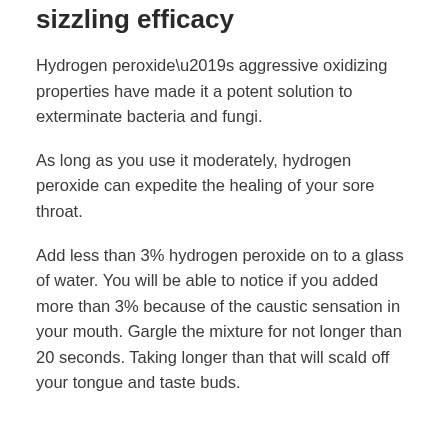sizzling efficacy
Hydrogen peroxide’s aggressive oxidizing properties have made it a potent solution to exterminate bacteria and fungi.
As long as you use it moderately, hydrogen peroxide can expedite the healing of your sore throat.
Add less than 3% hydrogen peroxide on to a glass of water. You will be able to notice if you added more than 3% because of the caustic sensation in your mouth. Gargle the mixture for not longer than 20 seconds. Taking longer than that will scald off your tongue and taste buds.